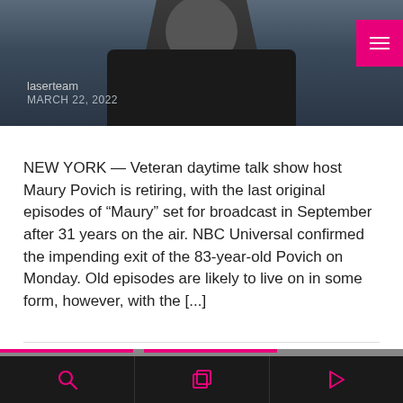[Figure (photo): Photo of a man in a dark jacket, partially visible, with photo overlay showing site name 'laserteam' and date 'MARCH 22, 2022', and a pink hamburger menu button in the top right corner.]
NEW YORK — Veteran daytime talk show host Maury Povich is retiring, with the last original episodes of “Maury” set for broadcast in September after 31 years on the air. NBC Universal confirmed the impending exit of the 83-year-old Povich on Monday. Old episodes are likely to live on in some form, however, with the [...]
CELEBRITY NEWS  ENTERTAINMENT  0
[Figure (photo): Partial photo of a person's head at the bottom of the screen.]
Search | Gallery | Play navigation bar